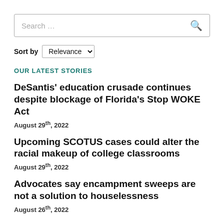Search …
Sort by Relevance
OUR LATEST STORIES
DeSantis' education crusade continues despite blockage of Florida's Stop WOKE Act
August 29th, 2022
Upcoming SCOTUS cases could alter the racial makeup of college classrooms
August 29th, 2022
Advocates say encampment sweeps are not a solution to houselessness
August 26th, 2022